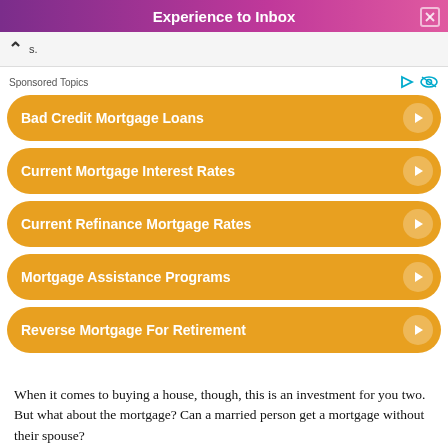Experience to Inbox
s.
Sponsored Topics
Bad Credit Mortgage Loans
Current Mortgage Interest Rates
Current Refinance Mortgage Rates
Mortgage Assistance Programs
Reverse Mortgage For Retirement
When it comes to buying a house, though, this is an investment for you two. But what about the mortgage? Can a married person get a mortgage without their spouse?
This article will answer that question and provide more information